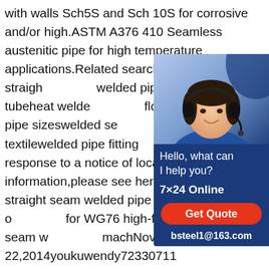with walls Sch5S and Sch 10S for corrosive and/or high.ASTM A376 410 Seamless austenitic pipe for high temperature applications.Related searches for straight seam welded pipeseam welded tubeheat welded flooringwelded steel pipe sizeswelded seams standard textilewelded pipe fittings removed in response to a notice of local more information,please see here.Previous straight seam welded pipe Watch video on for WG76 high-frequency straight-seam machNov 22,2014youkuwendy72330711 straight seam welded pipeStraight-seam welded steel pipes choose Solines!Broad range.We are an international supplier and stocker of surplus batches and new,downgraded,straight-seam welded steel pipes.Our total stock of steel pipes is around 40,000 tonnes,ranging in diameter from 10 to 1420 mm.Thanks to good contacts with the most high-quality steel pipe manufacturers we
[Figure (illustration): Customer service chat widget with a photo of a woman wearing a headset, dark blue background, text 'Hello, what can I help you?', '7x24 Online', red 'Get Quote' button, and 'bsteel1@163.com']